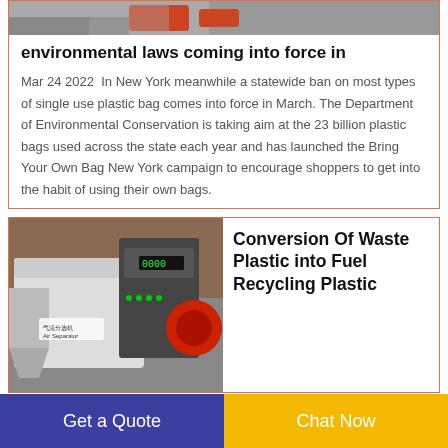[Figure (photo): Top portion of image showing orange/grey scene, partially cut off]
environmental laws coming into force in
Mar 24 2022  In New York meanwhile a statewide ban on most types of single use plastic bag comes into force in March. The Department of Environmental Conservation is taking aim at the 23 billion plastic bags used across the state each year and has launched the Bring Your Own Bag New York campaign to encourage shoppers to get into the habit of using their own bags.
[Figure (photo): Industrial recycling machine - air separator and shredder equipment]
Conversion Of Waste Plastic into Fuel Recycling Plastic